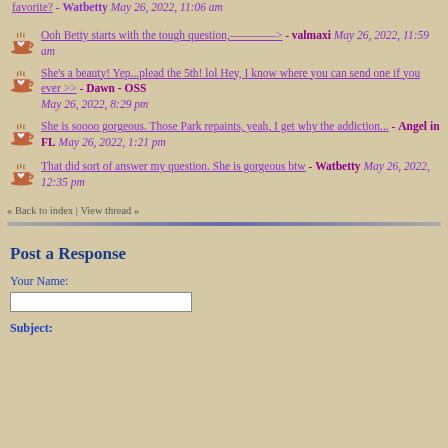favorite? - Watbetty May 26, 2022, 11:06 am
Ooh Betty starts with the tough question,————> - valmaxi May 26, 2022, 11:59 am
She's a beauty! Yep...plead the 5th! lol Hey, I know where you can send one if you ever >> - Dawn - OSS May 26, 2022, 8:29 pm
She is soooo gorgeous. Those Park repaints, yeah, I get why the addiction... - Angel in FL May 26, 2022, 1:21 pm
That did sort of answer my question. She is gorgeous btw - Watbetty May 26, 2022, 12:35 pm
« Back to index | View thread »
Post a Response
Your Name:
Subject: